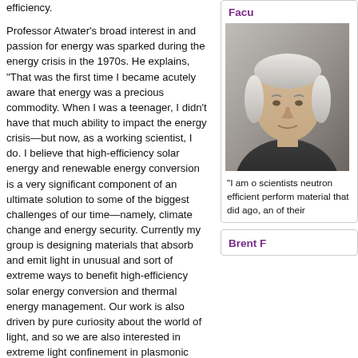efficiency.
Professor Atwater's broad interest in and passion for energy was sparked during the energy crisis in the 1970s. He explains, "That was the first time I became acutely aware that energy was a precious commodity. When I was a teenager, I didn't have that much ability to impact the energy crisis—but now, as a working scientist, I do. I believe that high-efficiency solar energy and renewable energy conversion is a very significant component of an ultimate solution to some of the biggest challenges of our time—namely, climate change and energy security. Currently my group is designing materials that absorb and emit light in unusual and sort of extreme ways to benefit high-efficiency solar energy conversion and thermal energy management. Our work is also driven by pure curiosity about the world of light, and so we are also interested in extreme light confinement in plasmonic and photonic structures and optical phenomena that emerge at the single- or few-photon level."
Reflecting on the interplay between applied physics and materials science, Atwater says, "What I've noticed at Caltech as we move into the 21st century is that 'physics is the new engineering,' so to speak, or at least it's hard to find the boundary between them. As understanding of fundamental engineering principles moves from a continuum to an atomistic-based description of materials, it's essential now for any scientifically learned person to understand quantum mechanics, statistical mechanics, and electrodynamics. Today, nanoscale phenomena are becoming more and more
Facu
[Figure (photo): Portrait photo of a person with grey/white hair against a light background]
"I am o scientists neutron efficient perform material that did ago, an of their
Brent F